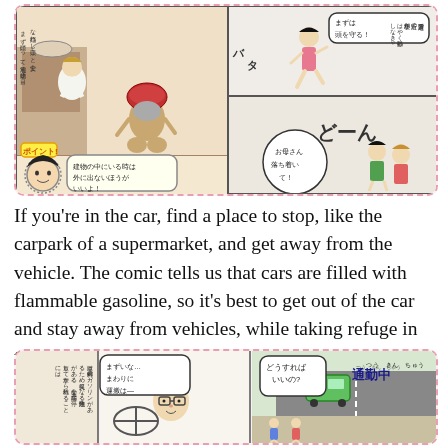[Figure (illustration): Japanese manga-style comic panel showing an earthquake scene at home. A grandmother crouches with a cushion over her head, a character in white speaks, and two children react. Speech bubbles in Japanese show emergency instructions. A 'Point!' badge with a round character face says to stay inside during an earthquake.]
If you're in the car, find a place to stop, like the carpark of a supermarket, and get away from the vehicle. The comic tells us that cars are filled with flammable gasoline, so it's best to get out of the car and stay away from vehicles, while taking refuge in the shade of a big building and avoiding big walls of glass.
[Figure (illustration): Japanese manga-style comic panel with three sub-panels. Left: vertical Japanese text describing car fire danger. Middle: a man with glasses driving, showing surprise with a speech bubble '通勤中' (Commuting) scene. Right: birds-eye view road scene with a green bus/van and pedestrians on sidewalk, with speech bubble asking 'どうすれば いいの?' (What should I do?). Title '通勤中' (During Commute) in blue.]